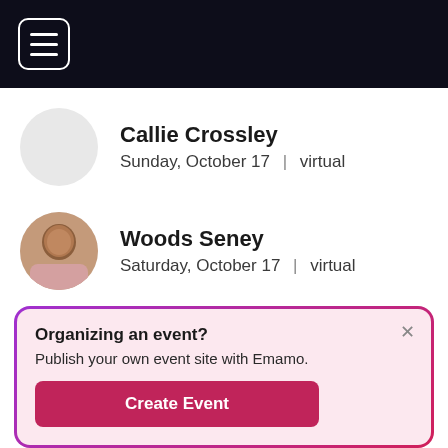☰
Callie Crossley
Sunday, October 17 | virtual
Woods Seney
Saturday, October 17 | virtual
Akunna Eneh
Sunday, October 17 | virtual
Organizing an event?
Publish your own event site with Emamo.
[Create Event]